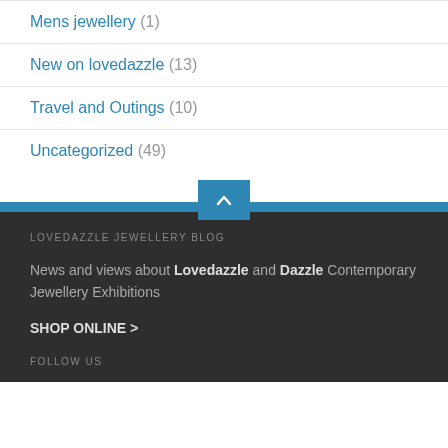Mens jewellery (1)
New on lovedazzle (13)
Travel and Outings (10)
Uncategorized (49)
LOVEDAZZLE JEWELLERY BLOG
News and views about Lovedazzle and Dazzle Contemporary Jewellery Exhibitions
SHOP ONLINE >
FOLLOW US